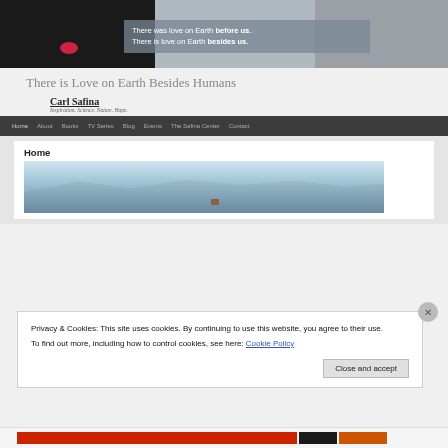[Figure (screenshot): Hero banner image with animals (black dog on left, hands/animal in center, elephant skin on right) with text overlay reading 'There was love on Earth before us. There is love on Earth besides us.']
There is Love on Earth Besides Humans
[Figure (screenshot): Carl Safina website screenshot showing logo with text 'Carl Safina' and tagline 'Inspiration. Science. Nature. Hope.' followed by dark navigation bar with links: Home, About, Books, TV Series, Blog, Events, The Safina Center, Contact. Below is the Home page content with a snowy mountain landscape photo.]
Privacy & Cookies: This site uses cookies. By continuing to use this website, you agree to their use.
To find out more, including how to control cookies, see here: Cookie Policy
Close and accept